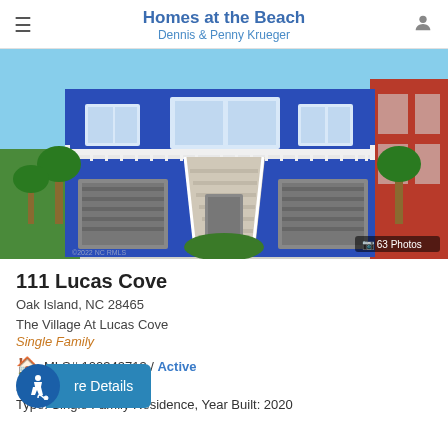Homes at the Beach
Dennis & Penny Krueger
[Figure (photo): Exterior photo of a two-story blue beach house with white balcony railing, two garage doors, white exterior stairs, and palm trees. A red building is partially visible on the right. Badge shows '63 Photos'.]
111 Lucas Cove
Oak Island, NC 28465
The Village At Lucas Cove
Single Family
MLS# 100343713 / Active
3 br, 3 ba, 2012 SqFt
Type: Single Family Residence, Year Built: 2020